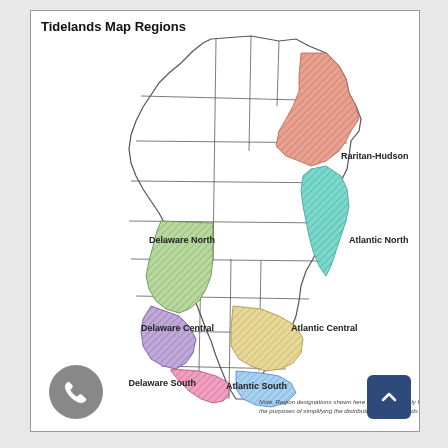[Figure (map): Map of New Jersey Tidelands Map Regions showing 6 color-coded regions: Raritan-Hudson (pink/salmon hatching, northeast), Atlantic North (teal/cyan hatching, central east coast), Atlantic Central (yellow/tan hatching, south-central coast), Atlantic South (light blue hatching, southern coast), Delaware North (green hatching, central west), Delaware Central (purple hatching, southwest), Delaware South (pink hatching, far south). County boundaries shown with black lines.]
Note: Region designations shown here were created only for the purposes of simplifying the distribution of the tidelands maps.
Tidelands Map Regions